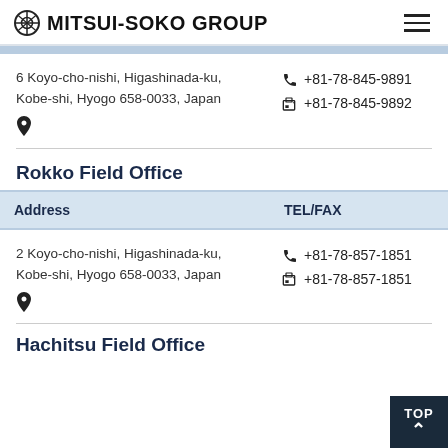MITSUI-SOKO GROUP
6 Koyo-cho-nishi, Higashinada-ku, Kobe-shi, Hyogo 658-0033, Japan
TEL: +81-78-845-9891
FAX: +81-78-845-9892
Rokko Field Office
| Address | TEL/FAX |
| --- | --- |
| 2 Koyo-cho-nishi, Higashinada-ku, Kobe-shi, Hyogo 658-0033, Japan | TEL: +81-78-857-1851
FAX: +81-78-857-1851 |
Hachitsu Field Office